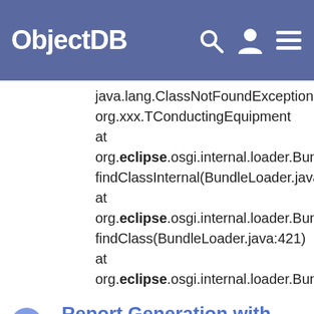ObjectDB
java.lang.ClassNotFoundException: org.xxx.TConductingEquipment at org.eclipse.osgi.internal.loader.BundleLoader.findClassInternal(BundleLoader.java:501) at org.eclipse.osgi.internal.loader.BundleLoader.findClass(BundleLoader.java:421) at org.eclipse.osgi.internal.loader.BundleLoader
Report Generation with BIRT and JPA
...) Also, verify that BIRT was installed by Help > About Eclipse > Installation Details. support Support hi After Installation Details the update eclipse then it was updated. After that In